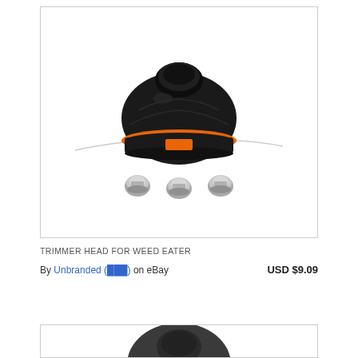[Figure (photo): Product photo of a black and orange trimmer head for weed eater, with three silver metal bolt/nut hardware pieces shown below it, on a white background inside a bordered card.]
TRIMMER HEAD FOR WEED EATER
By Unbranded (한국어) on eBay   USD $9.09
[Figure (photo): Partial product photo of a dark gray trimmer head visible at the bottom of the second card, cropped off at bottom of page.]